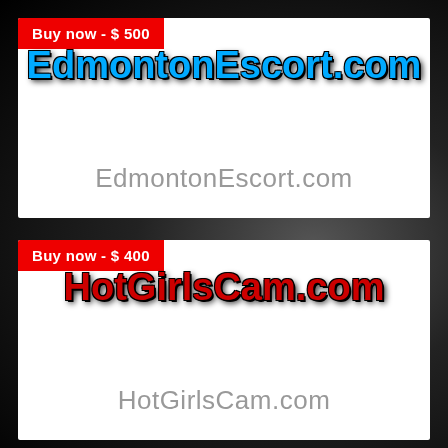Buy now - $ 500
EdmontonEscort.com
EdmontonEscort.com
Buy now - $ 400
HotGirlsCam.com
HotGirlsCam.com